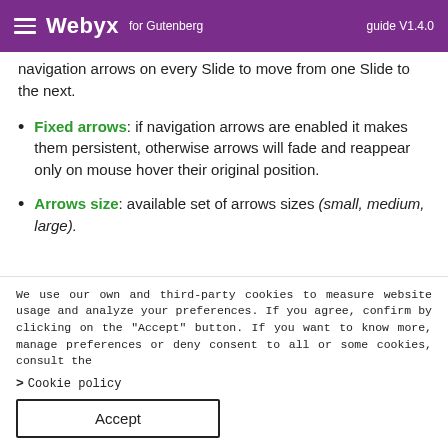Webyx for Gutenberg  guide V1.4.0
navigation arrows on every Slide to move from one Slide to the next.
Fixed arrows: if navigation arrows are enabled it makes them persistent, otherwise arrows will fade and reappear only on mouse hover their original position.
Arrows size: available set of arrows sizes (small, medium, large).
We use our own and third-party cookies to measure website usage and analyze your preferences. If you agree, confirm by clicking on the "Accept" button. If you want to know more, manage preferences or deny consent to all or some cookies, consult the
> Cookie policy
Accept